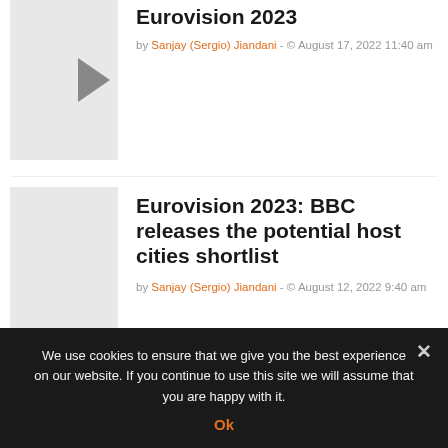[Figure (photo): Thumbnail image placeholder (light gray) with a play/arrow icon visible at top right]
Eurovision 2023
by Sanjay (Sergio) Jiandani - © August 17, 2022 11:40 am
[Figure (photo): Thumbnail image placeholder (light gray)]
Eurovision 2023: BBC releases the potential host cities shortlist
by Sanjay (Sergio) Jiandani - © August 12, 2022 9:40 am
We use cookies to ensure that we give you the best experience on our website. If you continue to use this site we will assume that you are happy with it.
Ok